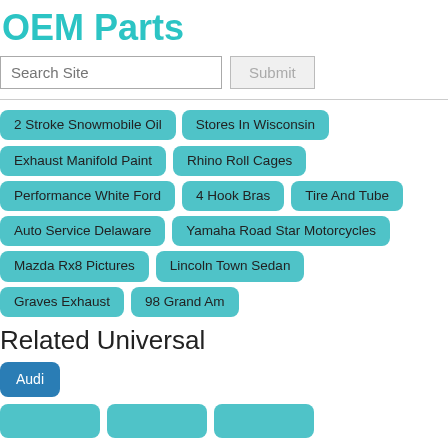OEM Parts
Search Site | Submit
2 Stroke Snowmobile Oil
Stores In Wisconsin
Exhaust Manifold Paint
Rhino Roll Cages
Performance White Ford
4 Hook Bras
Tire And Tube
Auto Service Delaware
Yamaha Road Star Motorcycles
Mazda Rx8 Pictures
Lincoln Town Sedan
Graves Exhaust
98 Grand Am
Related Universal
Audi